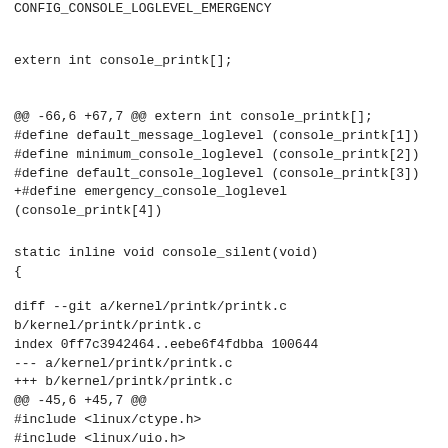CONFIG_CONSOLE_LOGLEVEL_EMERGENCY
extern int console_printk[];
@@ -66,6 +67,7 @@ extern int console_printk[];
#define default_message_loglevel (console_printk[1])
#define minimum_console_loglevel (console_printk[2])
#define default_console_loglevel (console_printk[3])
+#define emergency_console_loglevel (console_printk[4])
static inline void console_silent(void)
{
diff --git a/kernel/printk/printk.c b/kernel/printk/printk.c
index 0ff7c3942464..eebe6f4fdbba 100644
--- a/kernel/printk/printk.c
+++ b/kernel/printk/printk.c
@@ -45,6 +45,7 @@
#include <linux/ctype.h>
#include <linux/uio.h>
#include <linux/kthread.h>
+#include <linux/clocksource.h>
#include <linux/printk_ringbuffer.h>
#include <linux/sched/clock.h>
#include <linux/sched/debug.h>
@@ -61,11 +62,12 @@
#include "braille.h"